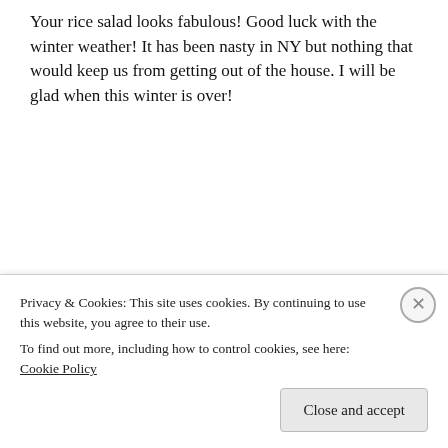Your rice salad looks fabulous! Good luck with the winter weather! It has been nasty in NY but nothing that would keep us from getting out of the house. I will be glad when this winter is over!
↳ Reply
Eileen on 10 February 2015 at 2:49 pm
This sounds like exactly the kind of full-meal salad that I want to eat during the cold winter months. Love the mix of flavors and textures!
Privacy & Cookies: This site uses cookies. By continuing to use this website, you agree to their use.
To find out more, including how to control cookies, see here: Cookie Policy
Close and accept